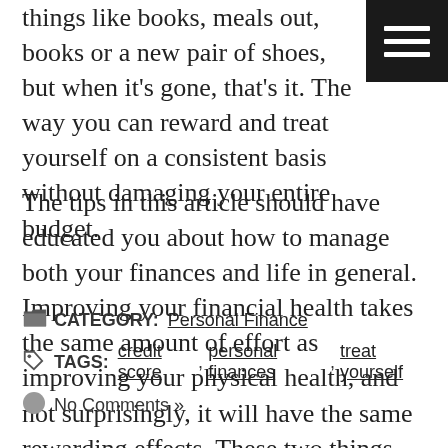things like books, meals out, books or a new pair of shoes, but when it's gone, that's it. The way you can reward and treat yourself on a consistent basis without damaging your entire budget.
The tips in this article should have educated you about how to manage both your finances and life in general. Improving your financial health takes the same amount of effort as improving your physical health, and not surprisingly, it will have the same rewarding effects. These two things will both help you live a happier life.
CATEGORY: Personal Finance
TAGS: credit score, personal finances, treat yourself
No Comments »